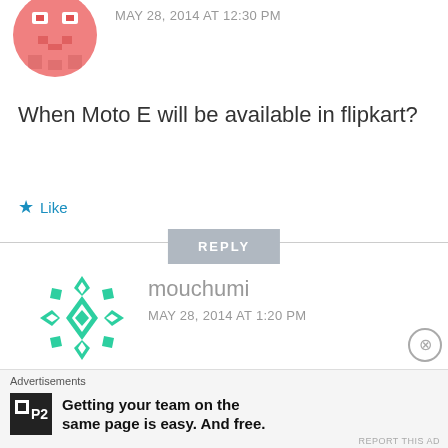[Figure (illustration): Pink/salmon colored avatar icon with pixel-art robot/ghost design, circular crop, partially visible at top]
MAY 28, 2014 AT 12:30 PM
When Moto E will be available in flipkart?
Like
REPLY
[Figure (illustration): Green geometric snowflake/diamond pattern avatar, circular, for user mouchumi]
mouchumi
MAY 28, 2014 AT 1:20 PM
When Moto E will be available in flinkart?
Advertisements
[Figure (logo): P2 logo - black square with white box inside and P2 text]
Getting your team on the same page is easy. And free.